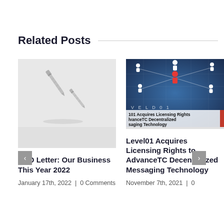Related Posts
[Figure (photo): Two small metal screws on a light gray background]
CEO Letter: Our Business This Year 2022
January 17th, 2022  |  0 Comments
[Figure (photo): Network/technology graphic showing white human figures connected by lines on a world map background, with one red figure in the center, and overlay text reading: Level01 Acquires Licensing Rights to AdvanceTC Decentralized Messaging Technology]
Level01 Acquires Licensing Rights to AdvanceTC Decentralized Messaging Technology
November 7th, 2021  |  0